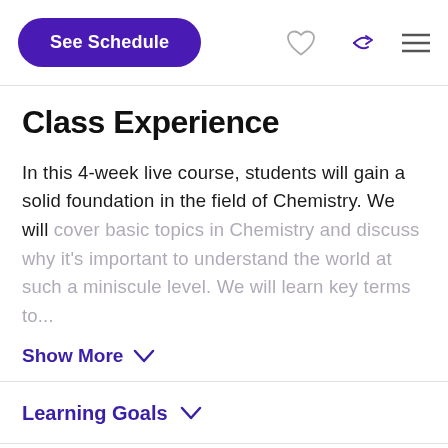See Schedule
Class Experience
In this 4-week live course, students will gain a solid foundation in the field of Chemistry. We will cover basic topics in Chemistry and discuss why it's important to understand the world at such a miniscule level. We will learn key terms to...
Show More
Learning Goals
Teacher Expertise